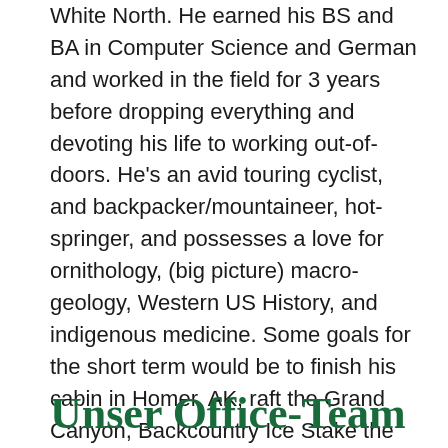White North. He earned his BS and BA in Computer Science and German and worked in the field for 3 years before dropping everything and devoting his life to working out-of-doors. He's an avid touring cyclist, and backpacker/mountaineer, hot-springer, and possesses a love for ornithology, (big picture) macro-geology, Western US History, and indigenous medicine. Some goals for the short term would be to finish his cabin in Homer, AK, raft the Grand Canyon, Backcountry Ice Stake the 260 mile Matanuska River, tour the winter route from Anchorage to Nome, Alaska by snow bicycle, and hike the Torngat.
Unser Office-Team